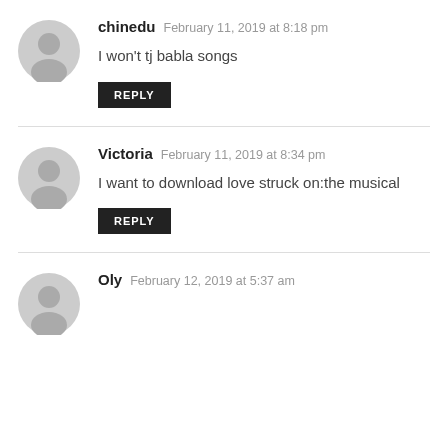chinedu  February 11, 2019 at 8:18 pm
I won't tj babla songs
REPLY
Victoria  February 11, 2019 at 8:34 pm
I want to download love struck on:the musical
REPLY
Oly  February 12, 2019 at 5:37 am